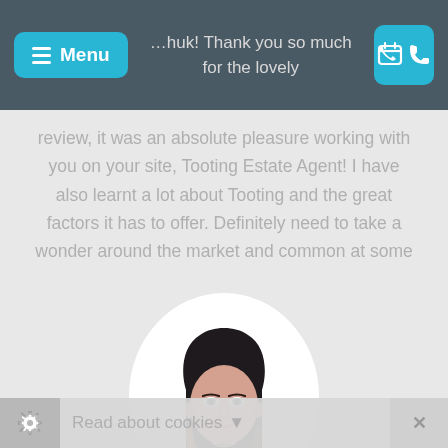Menu  …huk! Thank you so much for the lovely
review, it was an absolute pleasure working with you on your site, Tooting Estate Agent! I have also learnt a lot about Tooting and the great factors it has to offer. Definitely need to take a wonder around the market and common at some
[Figure (photo): Oval-framed portrait photo of a young woman with long dark hair with reddish-brown highlights, wearing a black top and a necklace, against a white oval background.]
Read about cookies  ×